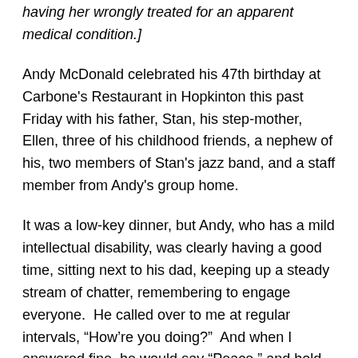having her wrongly treated for an apparent medical condition.]
Andy McDonald celebrated his 47th birthday at Carbone's Restaurant in Hopkinton this past Friday with his father, Stan, his step-mother, Ellen, three of his childhood friends, a nephew of his, two members of Stan's jazz band, and a staff member from Andy's group home.
It was a low-key dinner, but Andy, who has a mild intellectual disability, was clearly having a good time, sitting next to his dad, keeping up a steady stream of chatter, remembering to engage everyone.  He called over to me at regular intervals, “How’re you doing?”  And when I answered fine, he would say “Peace,” and hold up two fingers in the old salute from the 1960s.
“I think he came out (of the womb) talking,” a staff member